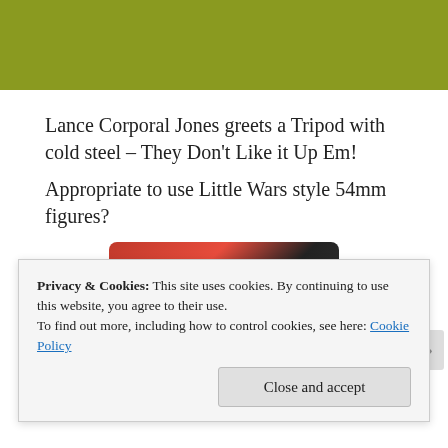[Figure (photo): Olive/yellow-green textured surface or background image cropped at the top of the page]
Lance Corporal Jones greets a Tripod with cold steel – They Don't Like it Up Em!
Appropriate to use Little Wars style 54mm figures?
[Figure (photo): Partial photo of a red smartphone or device on a red background]
Privacy & Cookies: This site uses cookies. By continuing to use this website, you agree to their use.
To find out more, including how to control cookies, see here: Cookie Policy
Close and accept